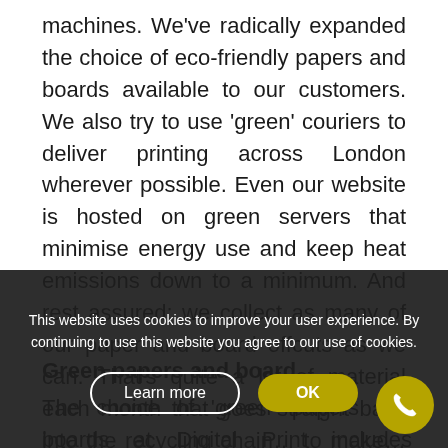machines. We've radically expanded the choice of eco-friendly papers and boards available to our customers. We also try to use 'green' couriers to deliver printing across London wherever possible. Even our website is hosted on green servers that minimise energy use and keep heat emissions down to a minimum. And rest assured; we collect as many of our paper and board offcuts as we can. That's quite a lot of material each month that goes straight back into the recycling chain… to make… down trees.
[Figure (screenshot): Cookie consent overlay with message 'This website uses cookies to improve your user experience. By continuing to use this website you agree to our use of cookies.' with 'Learn more' and 'OK' buttons on dark background.]
Green papers and board
The choice of 'green' papers and boards at Digital Print includes anything from papers